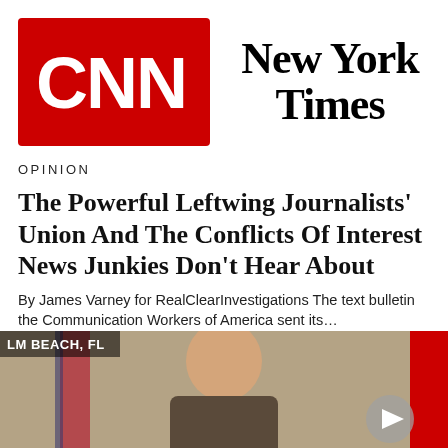[Figure (logo): CNN logo — red background with white CNN lettering]
[Figure (logo): New York Times logo in black serif blackletter font]
OPINION
The Powerful Leftwing Journalists' Union And The Conflicts Of Interest News Junkies Don't Hear About
By James Varney for RealClearInvestigations The text bulletin the Communication Workers of America sent its…
1 day ago
[Figure (photo): Screenshot of a TV broadcast labeled 'LM BEACH, FL' showing a man speaking at a podium with a US flag behind him and a red graphic element on the right; a grey play button circle appears in the bottom-right corner]